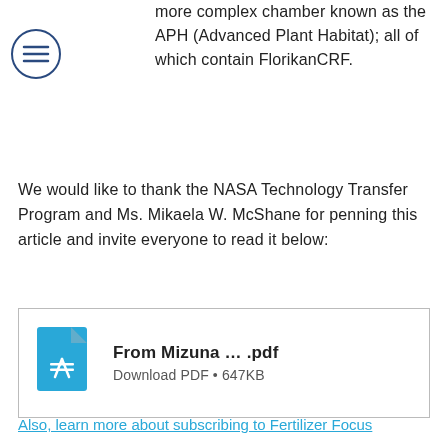more complex chamber known as the APH (Advanced Plant Habitat); all of which contain FlorikanCRF.
We would like to thank the NASA Technology Transfer Program and Ms. Mikaela W. McShane for penning this article and invite everyone to read it below:
[Figure (other): PDF download box showing 'From Mizuna … .pdf' with a blue PDF file icon and 'Download PDF • 647KB' subtitle]
Also, learn more about subscribing to Fertilizer Focus